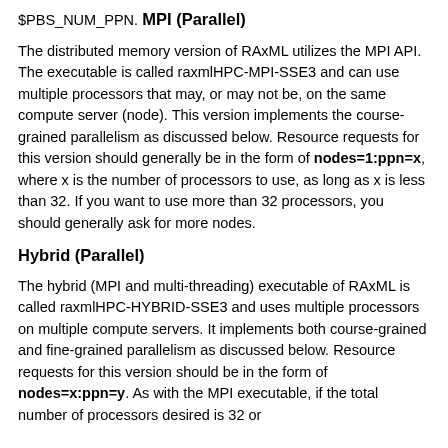$PBS_NUM_PPN.
MPI (Parallel)
The distributed memory version of RAxML utilizes the MPI API. The executable is called raxmlHPC-MPI-SSE3 and can use multiple processors that may, or may not be, on the same compute server (node). This version implements the course-grained parallelism as discussed below. Resource requests for this version should generally be in the form of nodes=1:ppn=x, where x is the number of processors to use, as long as x is less than 32. If you want to use more than 32 processors, you should generally ask for more nodes.
Hybrid (Parallel)
The hybrid (MPI and multi-threading) executable of RAxML is called raxmlHPC-HYBRID-SSE3 and uses multiple processors on multiple compute servers. It implements both course-grained and fine-grained parallelism as discussed below. Resource requests for this version should be in the form of nodes=x:ppn=y. As with the MPI executable, if the total number of processors desired is 32 or